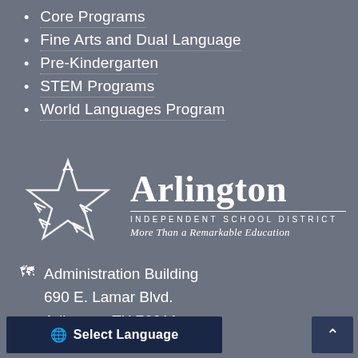Core Programs
Fine Arts and Dual Language
Pre-Kindergarten
STEM Programs
World Languages Program
[Figure (logo): Arlington Independent School District logo — a star made of letter shapes, next to the text 'Arlington INDEPENDENT SCHOOL DISTRICT More Than a Remarkable Education']
Administration Building
690 E. Lamar Blvd.
Arlington, TX 76011
Select Language